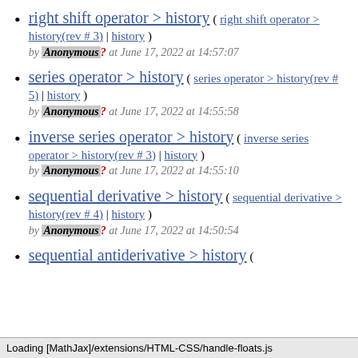right shift operator > history ( right shift operator > history(rev # 3) | history ) by Anonymous? at June 17, 2022 at 14:57:07
series operator > history ( series operator > history(rev # 5) | history ) by Anonymous? at June 17, 2022 at 14:55:58
inverse series operator > history ( inverse series operator > history(rev # 3) | history ) by Anonymous? at June 17, 2022 at 14:55:10
sequential derivative > history ( sequential derivative > history(rev # 4) | history ) by Anonymous? at June 17, 2022 at 14:50:54
sequential antiderivative > history (
Loading [MathJax]/extensions/HTML-CSS/handle-floats.js